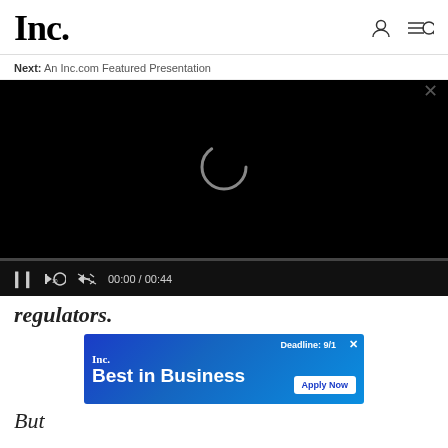Inc.
Next: An Inc.com Featured Presentation
[Figure (screenshot): Video player with black screen showing a loading spinner, progress bar, and controls: pause button, rewind 10s, mute, timecode 00:00 / 00:44]
regulators.
[Figure (other): Inc. Best in Business advertisement banner with Apply Now button and Deadline: 9/1 label]
But